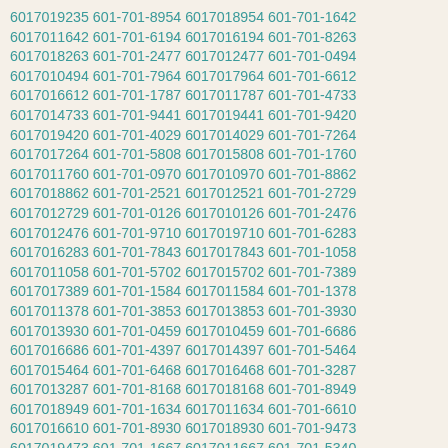6017019235 601-701-8954 6017018954 601-701-1642 6017011642 601-701-6194 6017016194 601-701-8263 6017018263 601-701-2477 6017012477 601-701-0494 6017010494 601-701-7964 6017017964 601-701-6612 6017016612 601-701-1787 6017011787 601-701-4733 6017014733 601-701-9441 6017019441 601-701-9420 6017019420 601-701-4029 6017014029 601-701-7264 6017017264 601-701-5808 6017015808 601-701-1760 6017011760 601-701-0970 6017010970 601-701-8862 6017018862 601-701-2521 6017012521 601-701-2729 6017012729 601-701-0126 6017010126 601-701-2476 6017012476 601-701-9710 6017019710 601-701-6283 6017016283 601-701-7843 6017017843 601-701-1058 6017011058 601-701-5702 6017015702 601-701-7389 6017017389 601-701-1584 6017011584 601-701-1378 6017011378 601-701-3853 6017013853 601-701-3930 6017013930 601-701-0459 6017010459 601-701-6686 6017016686 601-701-4397 6017014397 601-701-5464 6017015464 601-701-6468 6017016468 601-701-3287 6017013287 601-701-8168 6017018168 601-701-8949 6017018949 601-701-1634 6017011634 601-701-6610 6017016610 601-701-8930 6017018930 601-701-9473 6017019473 601-701-1667 6017011667 601-701-5340 6017015340 601-701-3558 6017013558 601-701-5431 6017015431 601-701-0166 6017010166 601-701-0729 6017010729 601-701-5501 6017015501 601-701-0983 6017010983 601-701-6555 6017016555 601-701-5548 6017015548 601-701-7087 6017017087 601-701-4421 6017014421 601-701-0433 6017010433 601-701-8432 6017018432 601-701-6372 6017016372 601-701-0882 6017010882 601-701-5617 6017015617 601-701-1858 6017011858 601-701-2624 6017012624 601-701-8849 6017018849 601-701-6546 6017016546 601-701-4998 6017014998 601-701-6471 6017016471 601-